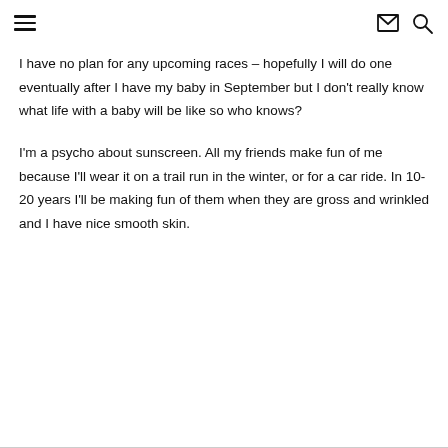[hamburger menu icon] [mail icon] [search icon]
I have no plan for any upcoming races – hopefully I will do one eventually after I have my baby in September but I don't really know what life with a baby will be like so who knows?
I'm a psycho about sunscreen. All my friends make fun of me because I'll wear it on a trail run in the winter, or for a car ride. In 10-20 years I'll be making fun of them when they are gross and wrinkled and I have nice smooth skin.